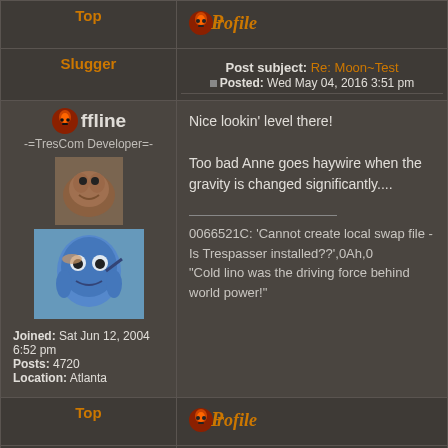Top
[Figure (logo): Profile button with decorative icon]
Slugger
Post subject: Re: Moon~Test
Posted: Wed May 04, 2016 3:51 pm
[Figure (illustration): Offline badge icon and user avatar images]
-=TresCom Developer=-
Joined: Sat Jun 12, 2004 6:52 pm
Posts: 4720
Location: Atlanta
Nice lookin' level there!

Too bad Anne goes haywire when the gravity is changed significantly....
0066521C: 'Cannot create local swap file - Is Trespasser installed??',0Ah,0
"Cold lino was the driving force behind world power!"
Top
[Figure (logo): Profile button with decorative icon]
Vesiapina
Post subject: Re: Moon~Test
Posted: Sat May 07, 2016 11:47 am
[Figure (illustration): Offline badge icon]
Could a dino model be transformed to be an Alien Xenomorph? And maybe